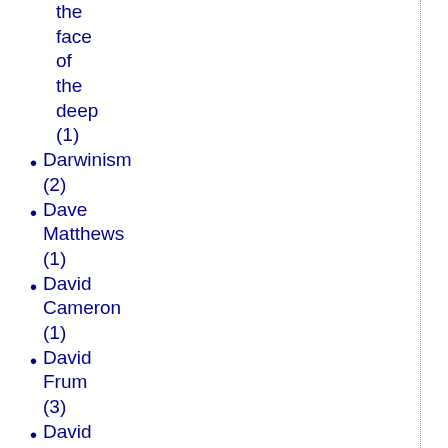the face of the deep (1)
Darwinism (2)
Dave Matthews (1)
David Cameron (1)
David Frum (3)
David Hacket Fischer (1)
David Hart (1)
David